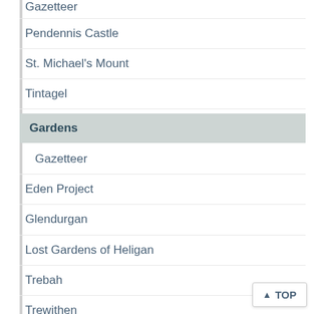Gazetteer
Pendennis Castle
St. Michael's Mount
Tintagel
Gardens
Gazetteer
Eden Project
Glendurgan
Lost Gardens of Heligan
Trebah
Trewithen
Historic Houses
Gazetteer